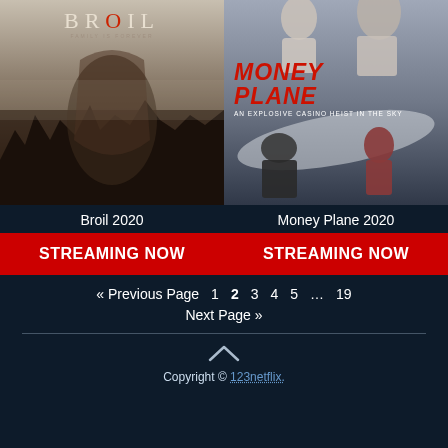[Figure (photo): Movie poster for Broil 2020 - dark moody poster with misty forest background and face silhouette, title BROIL in serif letters]
Broil 2020
[Figure (photo): Movie poster for Money Plane 2020 - action movie poster with red bold italic title, airplane and action figures]
Money Plane 2020
STREAMING NOW
STREAMING NOW
« Previous Page  1  2  3  4  5  …  19
Next Page »
[Figure (illustration): Up arrow chevron icon]
Copyright © 123netflix.